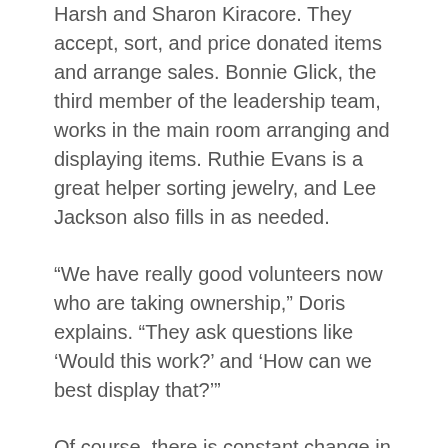Harsh and Sharon Kiracore. They accept, sort, and price donated items and arrange sales. Bonnie Glick, the third member of the leadership team, works in the main room arranging and displaying items. Ruthie Evans is a great helper sorting jewelry, and Lee Jackson also fills in as needed.
“We have really good volunteers now who are taking ownership,” Doris explains. “They ask questions like ‘Would this work?’ and ‘How can we best display that?’”
Of course, there is constant change in what’s for sale, with new items coming in and others being sold.
“Inventory in the shop has certainly increased over the past three years,” she adds.
That results in a wonderful variety of value-priced items for shoppers to discover. There is one room for books